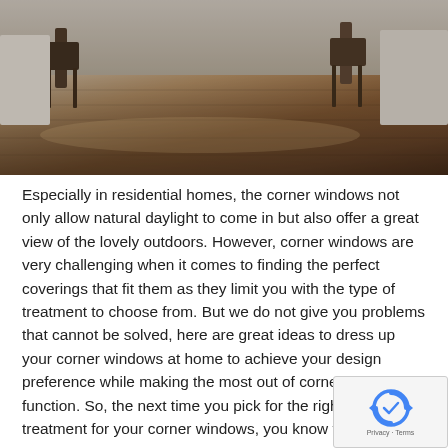[Figure (photo): Interior photo showing a room with hardwood flooring and chairs/furniture in the background, taken from a low angle with natural light.]
Especially in residential homes, the corner windows not only allow natural daylight to come in but also offer a great view of the lovely outdoors. However, corner windows are very challenging when it comes to finding the perfect coverings that fit them as they limit you with the type of treatment to choose from. But we do not give you problems that cannot be solved, here are great ideas to dress up your corner windows at home to achieve your design preference while making the most out of corner windows' function. So, the next time you pick for the right window treatment for your corner windows, you know your options.
Window Treatment Ideas for Corner Windows